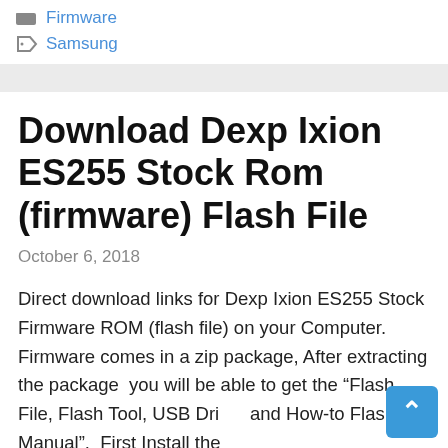Firmware
Samsung
Download Dexp Ixion ES255 Stock Rom (firmware) Flash File
October 6, 2018
Direct download links for Dexp Ixion ES255 Stock Firmware ROM (flash file) on your Computer. Firmware comes in a zip package, After extracting the package  you will be able to get the “Flash File, Flash Tool, USB Driver and How-to Flash Manual”.  First Install the